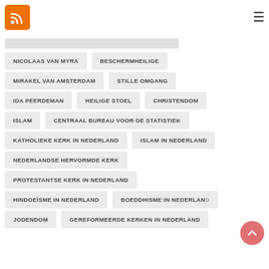[Figure (logo): RSS feed orange icon with white signal waves]
NICOLAAS VAN MYRA
BESCHERMHEILIGE
MIRAKEL VAN AMSTERDAM
STILLE OMGANG
IDA PEERDEMAN
HEILIGE STOEL
CHRISTENDOM
ISLAM
CENTRAAL BUREAU VOOR DE STATISTIEK
KATHOLIEKE KERK IN NEDERLAND
ISLAM IN NEDERLAND
NEDERLANDSE HERVORMDE KERK
PROTESTANTSE KERK IN NEDERLAND
HINDOEÏSME IN NEDERLAND
BOEDDHISME IN NEDERLAND
JODENDOM
GEREFORMEERDE KERKEN IN NEDERLAND